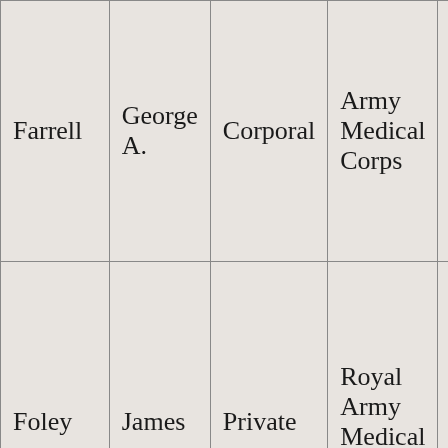| Last Name | First Name | Rank | Unit |  |
| --- | --- | --- | --- | --- |
| Farrell | George A. | Corporal | Army Medical Corps | – |
| Foley | James | Private | Royal Army Medical Corps | – |
| Garland | F. D. | Captain | Leinster | – |
This website uses cookies to ensure the best browsing experience. You may change your cookie preferences in your browser or device settings. Learn More How To Delete Cookies